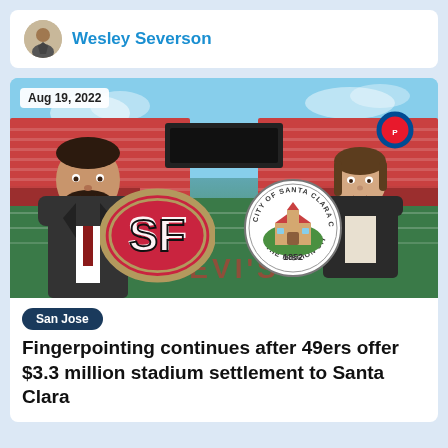Wesley Severson
[Figure (photo): News article thumbnail showing two people (a man on the left in a suit with a beard, and a woman on the right in a dark jacket) against a stadium background. The SF 49ers logo is overlaid on the left and the City of Santa Clara California seal (1852, The Mission City) on the right. A date badge reads 'Aug 19, 2022'.]
San Jose
Fingerpointing continues after 49ers offer $3.3 million stadium settlement to Santa Clara